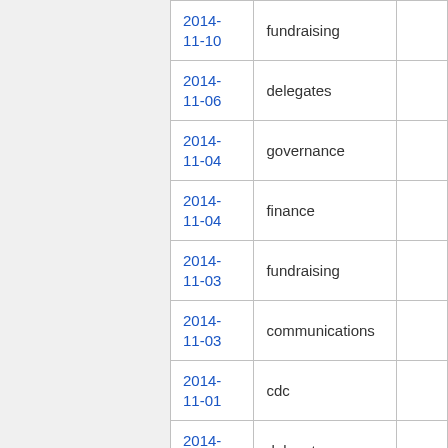| Date | Category |  |
| --- | --- | --- |
| 2014-11-10 | fundraising |  |
| 2014-11-06 | delegates |  |
| 2014-11-04 | governance |  |
| 2014-11-04 | finance |  |
| 2014-11-03 | fundraising |  |
| 2014-11-03 | communications |  |
| 2014-11-01 | cdc |  |
| 2014-10-30 | delegates |  |
| 2014-10-28 | finance |  |